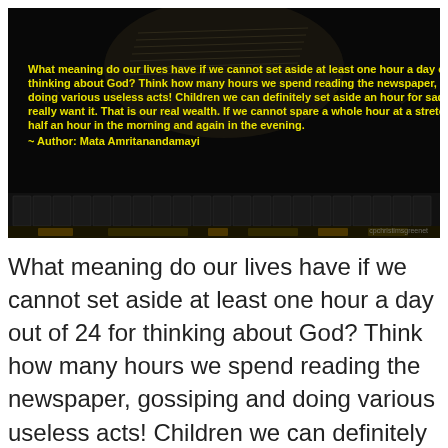[Figure (photo): Dark background image showing a book/sheet music and piano keys with yellow bold text quote overlaid]
What meaning do our lives have if we cannot set aside at least one hour a day out of 24 for thinking about God? Think how many hours we spend reading the newspaper, gossiping and doing various useless acts! Children we can definitely set aside an hour for sadhana if we really want it. That is our real wealth. If we cannot spare a whole hour at a stretch, keep apart half an hour in the morning and again in the evening.
~ Author: Mata Amritanandamayi
What meaning do our lives have if we cannot set aside at least one hour a day out of 24 for thinking about God? Think how many hours we spend reading the newspaper, gossiping and doing various useless acts! Children we can definitely set aside an hour for sadhana if we really want it. That is our real wealth. If we cannot spare a whole hour at a stretch, keep apart half an hour in the morning and again in the evening.